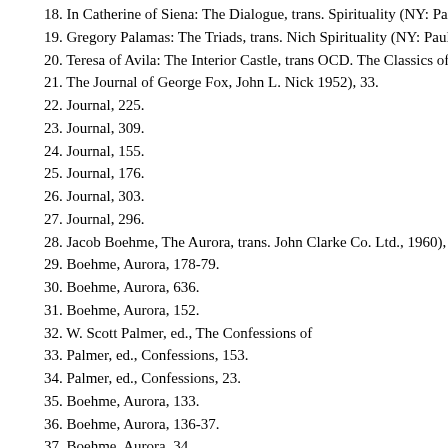18. In Catherine of Siena: The Dialogue, trans. Spirituality (NY: Paulist Press, 1980), 364-36
19. Gregory Palamas: The Triads, trans. Nich Spirituality (NY: Paulist Press, 1983), 33, 76.
20. Teresa of Avila: The Interior Castle, trans OCD. The Classics of Western Spirituality (N
21. The Journal of George Fox, John L. Nick 1952), 33.
22. Journal, 225.
23. Journal, 309.
24. Journal, 155.
25. Journal, 176.
26. Journal, 303.
27. Journal, 296.
28. Jacob Boehme, The Aurora, trans. John Clarke Co. Ltd., 1960), 118.
29. Boehme, Aurora, 178-79.
30. Boehme, Aurora, 636.
31. Boehme, Aurora, 152.
32. W. Scott Palmer, ed., The Confessions of
33. Palmer, ed., Confessions, 153.
34. Palmer, ed., Confessions, 23.
35. Boehme, Aurora, 133.
36. Boehme, Aurora, 136-37.
37. Boehme, Aurora, 34.